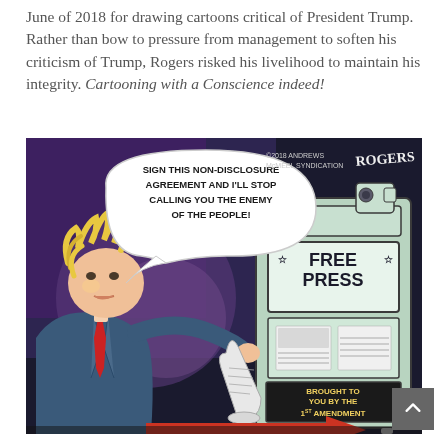June of 2018 for drawing cartoons critical of President Trump. Rather than bow to pressure from management to soften his criticism of Trump, Rogers risked his livelihood to maintain his integrity. Cartooning with a Conscience indeed!
[Figure (illustration): Editorial cartoon by Rogers (©2018 Andrews McMeel Syndication) showing a caricature of President Trump with wild blonde hair, holding a scroll/document (NDA), speaking to a newspaper vending machine labeled 'FREE PRESS' and 'BROUGHT TO YOU BY THE 1ST AMENDMENT'. Speech bubble reads: 'SIGN THIS NON-DISCLOSURE AGREEMENT AND I'LL STOP CALLING YOU THE ENEMY OF THE PEOPLE!' A red arrow points to the right at the bottom.]